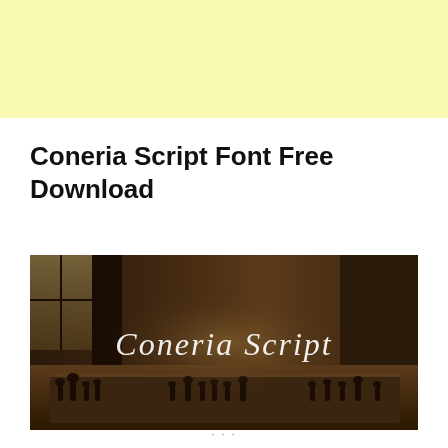[Figure (other): Light yellow banner background at top of page]
Coneria Script Font Free Download
[Figure (photo): Sepia-toned photograph of a chess board with chess pieces in the foreground, a window in the background, and the text 'Coneria Script' written in cursive white script overlaid in the center of the image.]